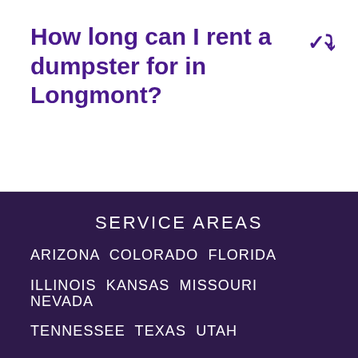How long can I rent a dumpster for in Longmont?
SERVICE AREAS
ARIZONA  COLORADO  FLORIDA
ILLINOIS  KANSAS  MISSOURI  NEVADA
TENNESSEE  TEXAS  UTAH